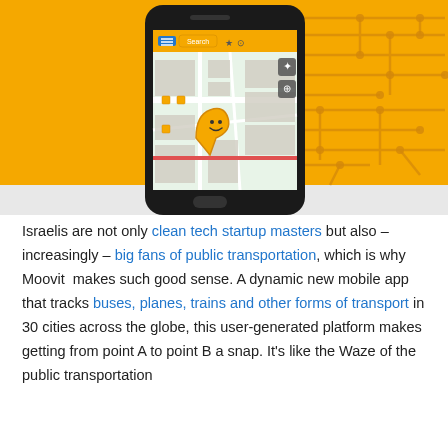[Figure (screenshot): A smartphone (iPhone-style) displaying the Moovit app showing a map with an orange smiley-face map pin, on an orange background with transit route network diagram lines in the upper right corner.]
Israelis are not only clean tech startup masters but also – increasingly – big fans of public transportation, which is why Moovit makes such good sense. A dynamic new mobile app that tracks buses, planes, trains and other forms of transport in 30 cities across the globe, this user-generated platform makes getting from point A to point B a snap. It's like the Waze of the public transportation